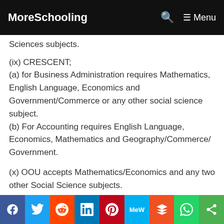MoreSchooling   🔍   ☰ Menu
Sciences subjects.
(ix) CRESCENT;
(a) for Business Administration requires Mathematics, English Language, Economics and Government/Commerce or any other social science subject.
(b) For Accounting requires English Language, Economics, Mathematics and Geography/Commerce/ Government.
(x) OOU accepts Mathematics/Economics and any two other Social Science subjects.
Social share bar: Facebook, Twitter, Reddit, LinkedIn, Pinterest, MeWe, Mix, WhatsApp, Share